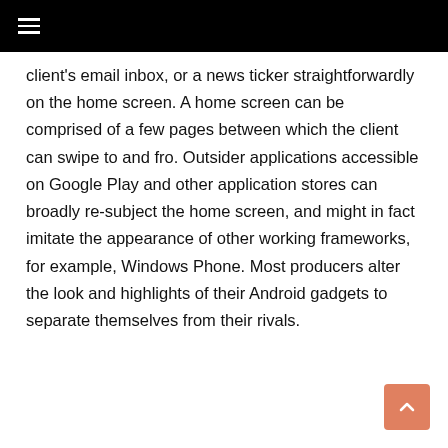≡
client's email inbox, or a news ticker straightforwardly on the home screen. A home screen can be comprised of a few pages between which the client can swipe to and fro. Outsider applications accessible on Google Play and other application stores can broadly re-subject the home screen, and might in fact imitate the appearance of other working frameworks, for example, Windows Phone. Most producers alter the look and highlights of their Android gadgets to separate themselves from their rivals.